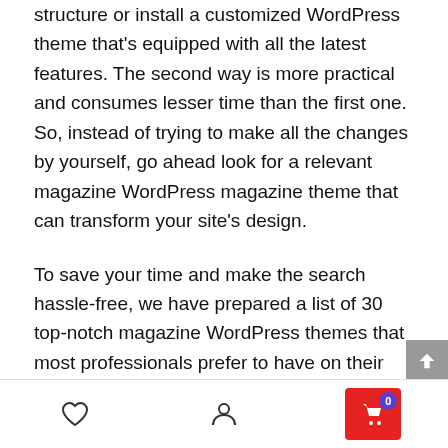structure or install a customized WordPress theme that's equipped with all the latest features. The second way is more practical and consumes lesser time than the first one. So, instead of trying to make all the changes by yourself, go ahead look for a relevant magazine WordPress magazine theme that can transform your site's design.
To save your time and make the search hassle-free, we have prepared a list of 30 top-notch magazine WordPress themes that most professionals prefer to have on their sites. Check out them and opt for the one that fits the bill in the best possible manner.
1. Lifestyle